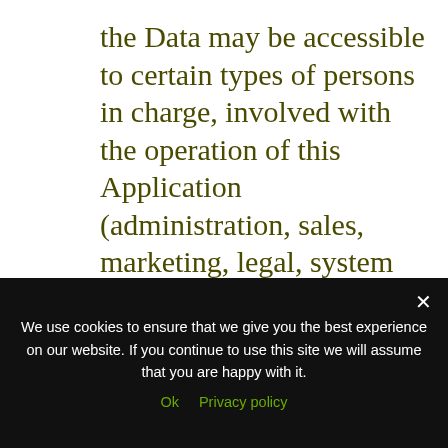the Data may be accessible to certain types of persons in charge, involved with the operation of this Application (administration, sales, marketing, legal, system administration) or external parties (such as third-party technical service providers, mail carriers, hosting providers, IT companies, communications agencies) appointed, if necessary, as Data Processors by the Owner. The updated list of these parties may be requested from
We use cookies to ensure that we give you the best experience on our website. If you continue to use this site we will assume that you are happy with it.
Ok   Privacy policy